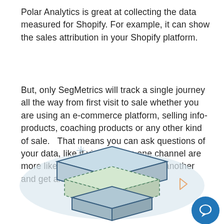Polar Analytics is great at collecting the data measured for Shopify. For example, it can show the sales attribution in your Shopify platform.
But, only SegMetrics will track a single journey all the way from first visit to sale whether you are using an e-commerce platform, selling info-products, coaching products or any other kind of sale.   That means you can ask questions of your data, like if visitors from one channel are more likely to click your emails than another and get answers.
[Figure (illustration): Isometric illustration of stacked layered cards/panels in green and blue tones, with decorative sparkle and triangle icons, on a light blue oval background. A blue circular chat button appears in the bottom right.]